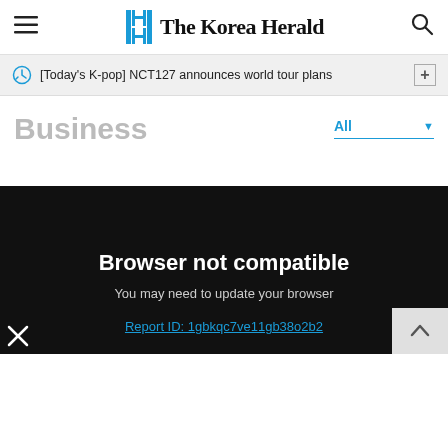The Korea Herald
[Today's K-pop] NCT127 announces world tour plans
Business
All
Browser not compatible
You may need to update your browser
Report ID: 1gbkqc7ve11gb38o2b2